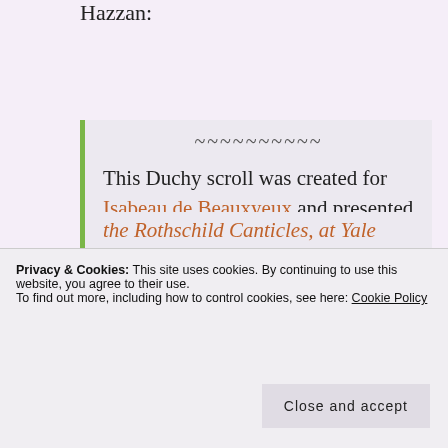Hazzan:
~~~~~~~~~~ This Duchy scroll was created for Isabeau de Beauxyeux and presented September 17, 2011 at the Coronation of Ostwald II and Kaye II. It's calligraphy and illumination were done by then
the Rothschild Canticles, at Yale
Privacy & Cookies: This site uses cookies. By continuing to use this website, you agree to their use.
To find out more, including how to control cookies, see here: Cookie Policy
Close and accept